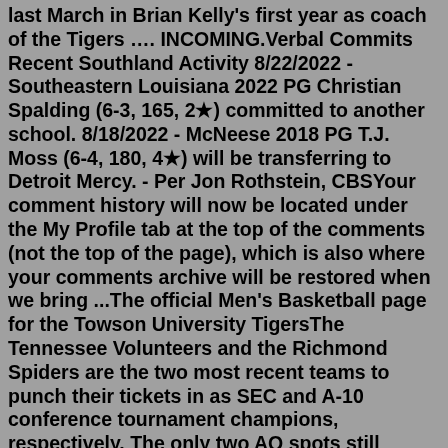last March in Brian Kelly's first year as coach of the Tigers …. INCOMING.Verbal Commits Recent Southland Activity 8/22/2022 - Southeastern Louisiana 2022 PG Christian Spalding (6-3, 165, 2★) committed to another school. 8/18/2022 - McNeese 2018 PG T.J. Moss (6-4, 180, 4★) will be transferring to Detroit Mercy. - Per Jon Rothstein, CBSYour comment history will now be located under the My Profile tab at the top of the comments (not the top of the page), which is also where your comments archive will be restored when we bring ...The official Men's Basketball page for the Towson University TigersThe Tennessee Volunteers and the Richmond Spiders are the two most recent teams to punch their tickets in as SEC and A-10 conference tournament champions, respectively. The only two AQ spots still ...Baseball Aug 15, 2022. Maryland's 2022 Hall of Fame Class Announced. Terrapin Athletics Aug 8, 2022. Buy Tickets To The Induction. Matt Shaw Named Cape Cod Baseball League MVP. Baseball Aug 4, 2022.Shakin the Southland's Tom Dianora provides